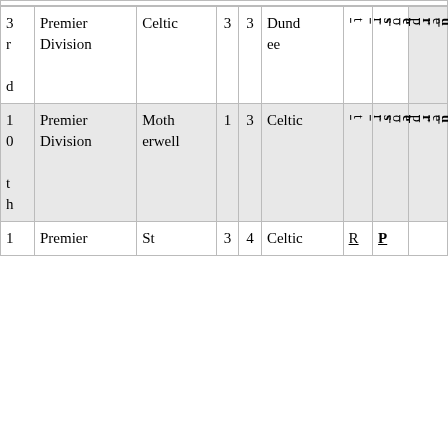|  | Division | Home | S1 | S2 | Away | Report | Pictures |  |
| --- | --- | --- | --- | --- | --- | --- | --- | --- |
| 3rd | Premier Division | Celtic | 3 | 3 | Dundee | Report | Pictures |  |
| 10th | Premier Division | Motherwell | 1 | 3 | Celtic | Report | Pictures |  |
| 1 | Premier | St | 3 | 4 | Celtic | R | P |  |